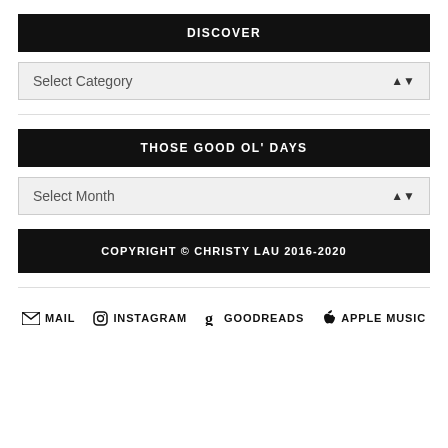DISCOVER
Select Category
THOSE GOOD OL' DAYS
Select Month
COPYRIGHT © CHRISTY LAU 2016-2020
MAIL   INSTAGRAM   GOODREADS   APPLE MUSIC